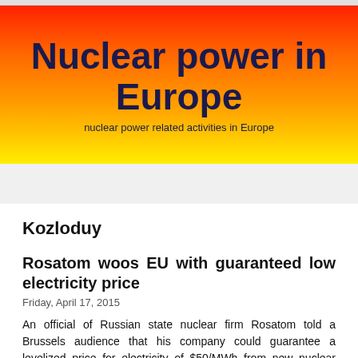[Figure (other): Banner with gradient background (red to yellow) containing the title 'Nuclear power in Europe' and subtitle 'nuclear power related activities in Europe']
Nuclear power in Europe
nuclear power related activities in Europe
Kozloduy
Rosatom woos EU with guaranteed low electricity price
Friday, April 17, 2015
An official of Russian state nuclear firm Rosatom told a Brussels audience that his company could guarantee a levelized price for electricity of $50/MWh from new nuclear plants it builds, if the client chooses the firm's